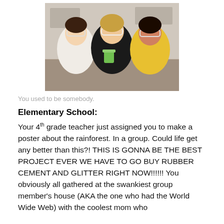[Figure (photo): Three children wearing safety goggles leaning over a lab table, one holding a beaker with green liquid, smiling at the camera.]
You used to be somebody.
Elementary School:
Your 4th grade teacher just assigned you to make a poster about the rainforest. In a group. Could life get any better than this?! THIS IS GONNA BE THE BEST PROJECT EVER WE HAVE TO GO BUY RUBBER CEMENT AND GLITTER RIGHT NOW!!!!!! You obviously all gathered at the swankiest group member's house (AKA the one who had the World Wide Web) with the coolest mom who provided the best snacks, Bagel Bites and Dunkaroos...